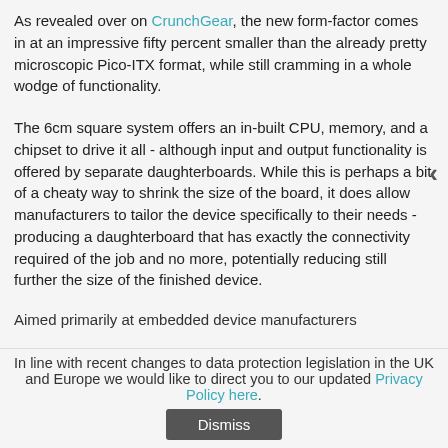As revealed over on CrunchGear, the new form-factor comes in at an impressive fifty percent smaller than the already pretty microscopic Pico-ITX format, while still cramming in a whole wodge of functionality.
The 6cm square system offers an in-built CPU, memory, and a chipset to drive it all - although input and output functionality is offered by separate daughterboards. While this is perhaps a bit of a cheaty way to shrink the size of the board, it does allow manufacturers to tailor the device specifically to their needs - producing a daughterboard that has exactly the connectivity required of the job and no more, potentially reducing still further the size of the finished device.
Aimed primarily at embedded device manufacturers
In line with recent changes to data protection legislation in the UK and Europe we would like to direct you to our updated Privacy Policy here.
Dismiss